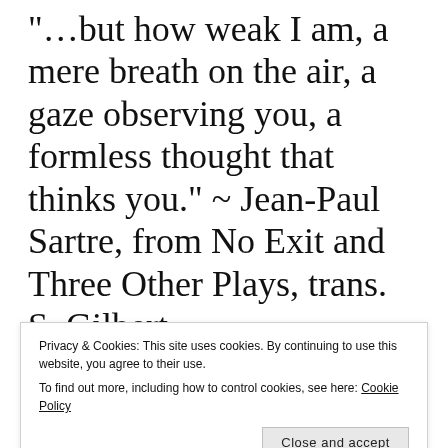…but how weak I am, a mere breath on the air, a gaze observing you, a formless thought that thinks you." ~ Jean-Paul Sartre, from No Exit and Three Other Plays, trans. S. Gilbert
PUBLISHED ON November 17, 2014
1 Comment
[Figure (photo): Dark atmospheric painting showing a stormy or dramatic landscape with dark browns and light cloud-like wisps in the center]
Privacy & Cookies: This site uses cookies. By continuing to use this website, you agree to their use.
To find out more, including how to control cookies, see here: Cookie Policy
Close and accept